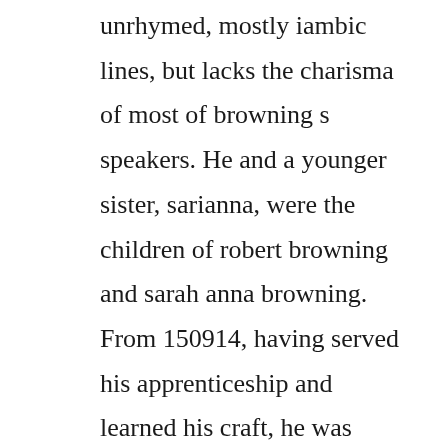unrhymed, mostly iambic lines, but lacks the charisma of most of browning s speakers. He and a younger sister, sarianna, were the children of robert browning and sarah anna browning. From 150914, having served his apprenticeship and learned his craft, he was engaged to do a series of frescoes for the church of the annunciation in florence, and then to do another series for the church of the recollets. Discussion of themes and motifs in robert browning s andrea del sarto. Inspiration and unrequited love in brownings andrea del. Robert brownings poem, andrea del sarto